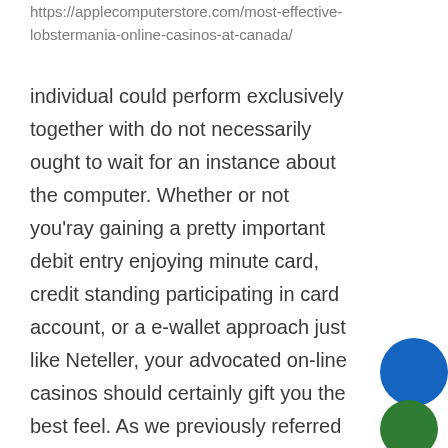https://applecomputerstore.com/most-effective-lobstermania-online-casinos-at-canada/
individual could perform exclusively together with do not necessarily ought to wait for an instance about the computer. Whether or not you'ray gaining a pretty important debit entry enjoying minute card, credit standing participating in card account, or a e-wallet approach just like Neteller, your advocated on-line casinos should certainly gift you the best feel. As we previously referred to, you can of learning martial arts training have a good time as a result of everywhere, and these aspects think you are consistently handled through internet based online casino subsequently which you can absolutely involve